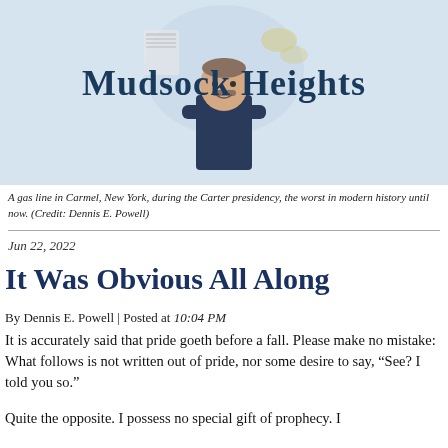[Figure (illustration): Mudsock Heights blog header with cartoon illustration of a man with arms crossed and background newspaper/money imagery on a light blue background]
Mudsock Heights
A gas line in Carmel, New York, during the Carter presidency, the worst in modern history until now. (Credit: Dennis E. Powell)
Jun 22, 2022
It Was Obvious All Along
By Dennis E. Powell | Posted at 10:04 PM
It is accurately said that pride goeth before a fall. Please make no mistake: What follows is not written out of pride, nor some desire to say, “See? I told you so.”
Quite the opposite. I possess no special gift of prophecy. I